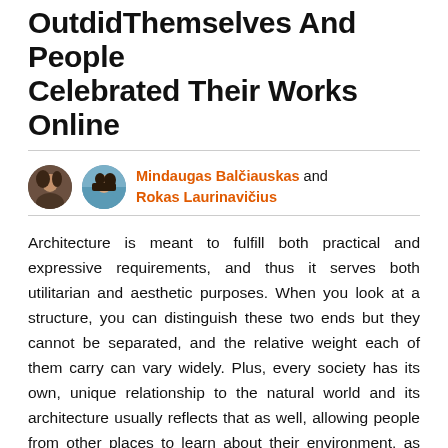Outdid Themselves And People Celebrated Their Works Online
Mindaugas Balčiauskas and Rokas Laurinavičius
Architecture is meant to fulfill both practical and expressive requirements, and thus it serves both utilitarian and aesthetic purposes. When you look at a structure, you can distinguish these two ends but they cannot be separated, and the relative weight each of them carry can vary widely. Plus, every society has its own, unique relationship to the natural world and its architecture usually reflects that as well, allowing people from other places to learn about their environment, as well as history, ceremonies, artistic sensibility, and many aspects of daily life.